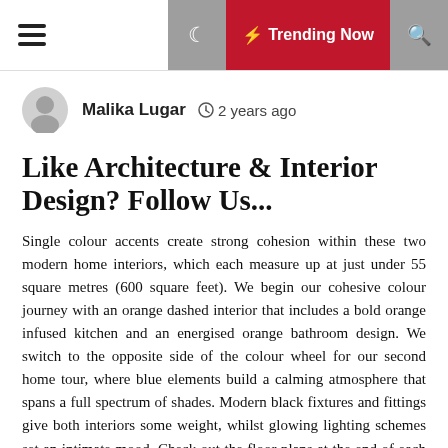☰  ☽  ⚡ Trending Now  🔍
Malika Lugar  🕐 2 years ago
Like Architecture & Interior Design? Follow Us...
Single colour accents create strong cohesion within these two modern home interiors, which each measure up at just under 55 square metres (600 square feet). We begin our cohesive colour journey with an orange dashed interior that includes a bold orange infused kitchen and an energised orange bathroom design. We switch to the opposite side of the colour wheel for our second home tour, where blue elements build a calming atmosphere that spans a full spectrum of shades. Modern black fixtures and fittings give both interiors some weight, whilst glowing lighting schemes set an intimate mood. Check out the floor plans at the end of each tour for more